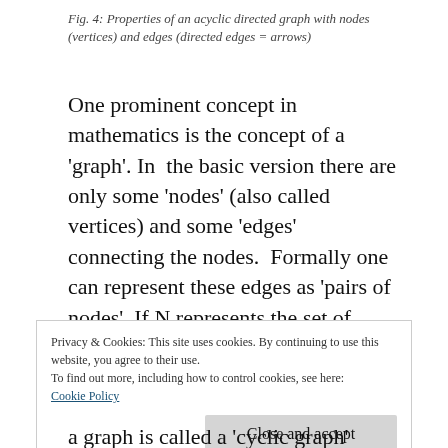Fig. 4: Properties of an acyclic directed graph with nodes (vertices) and edges (directed edges = arrows)
One prominent concept in mathematics is the concept of a 'graph'. In  the basic version there are only some 'nodes' (also called vertices) and some 'edges' connecting the nodes.  Formally one can represent these edges as 'pairs of nodes'. If N represents the set of nodes then N x N represents the set of all pairs of these nodes.
Privacy & Cookies: This site uses cookies. By continuing to use this website, you agree to their use.
To find out more, including how to control cookies, see here:
Cookie Policy
Close and accept
a graph is called a 'cyclic graph'